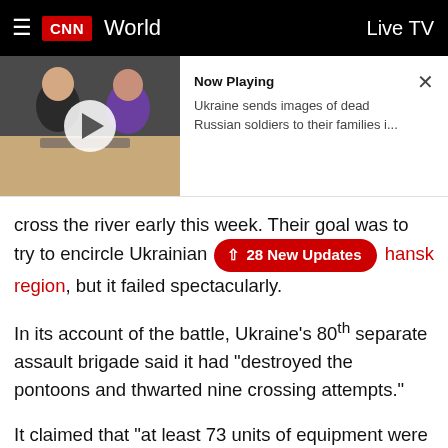CNN World  Live TV
[Figure (screenshot): Video thumbnail showing two people at a table, with a play button overlay. Now Playing: Ukraine sends images of dead Russian soldiers to their families i...]
cross the river early this week. Their goal was to try to encircle Ukrainian [28 New Updates] hansk region, but it failed spectacularly.
In its account of the battle, Ukraine's 80th separate assault brigade said it had "destroyed the pontoons and thwarted nine crossing attempts."
It claimed that "at least 73 units of equipment were destroyed, including T-72 tanks" and a variety of infantry fighting vehicles.
This tally appears supported by analysis of drone video